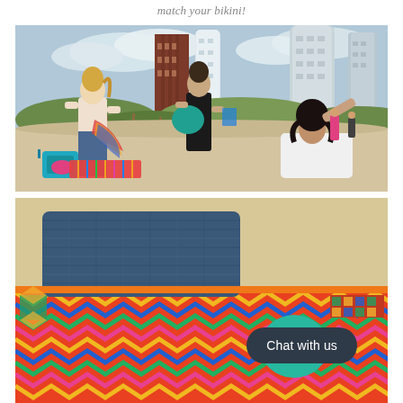match your bikini!
[Figure (photo): Three young women on a sandy beach with Miami-style skyscrapers in the background, sorting through colorful beach towels and bags on a sunny day.]
[Figure (photo): Close-up of colorful zigzag-patterned beach towels and teal/orange accessories laid out on sand, with a 'Chat with us' button overlay.]